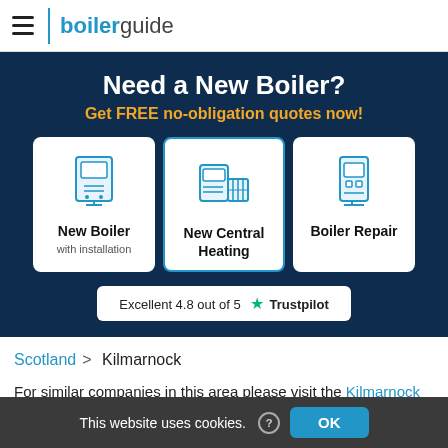boilerguide
Need a New Boiler?
Get FREE no-obligation quotes now!
[Figure (infographic): Three option cards: New Boiler with installation, New Central Heating, Boiler Repair — each with a boiler icon]
Excellent 4.8 out of 5 ★ Trustpilot
Scotland > Kilmarnock
For similar companies in this area please visit the Kilmarnock
This website uses cookies. ? OK